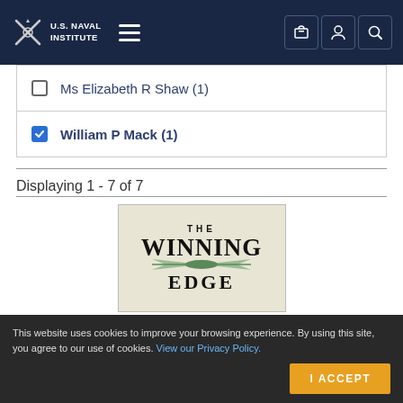U.S. Naval Institute
Ms Elizabeth R Shaw (1)
William P Mack (1)
Displaying 1 - 7 of 7
[Figure (photo): Book cover: The Winning Edge]
This website uses cookies to improve your browsing experience. By using this site, you agree to our use of cookies. View our Privacy Policy.